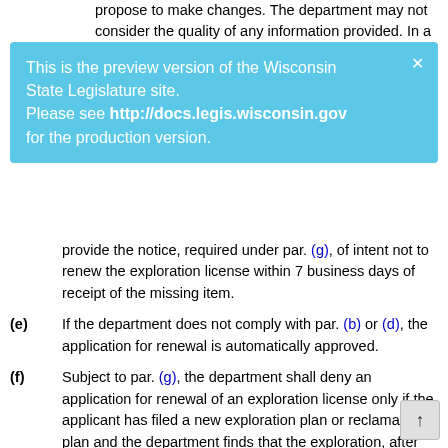propose to make changes. The department may not consider the quality of any information provided. In a notice
This is the preview version of the Wisconsin State Legislature site. Please see http://docs.legis.wisconsin.gov for the production version.
provide the notice, required under par. (g), of intent not to renew the exploration license within 7 business days of receipt of the missing item.
(e) If the department does not comply with par. (b) or (d), the application for renewal is automatically approved.
(f) Subject to par. (g), the department shall deny an application for renewal of an exploration license only if the applicant has filed a new exploration plan or reclamation plan and the department finds that the exploration, after the activities in the new exploration plan and the new reclamation plan have been completed, will have a substantial and irreparable adverse impact on the environment or present a substantial risk of injury to public health and welfare.
(g) Before denying an application, the department shall provide the person who submitted the application with written notification of its intent not to renew the exploration license, setting forth all of the reasons for its intent not to renew the exploration license, including reference to competent evidence supporting its position. The department...